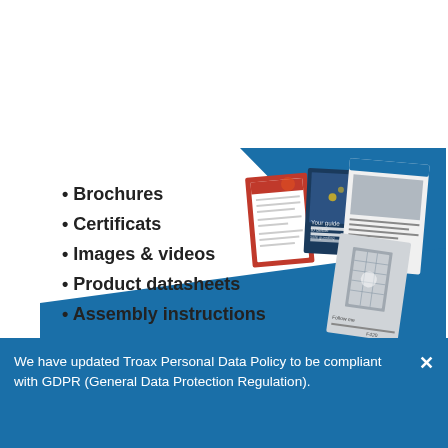[Figure (infographic): Marketing banner with blue background showing bullet list: Brochures, Certificats, Images & videos, Product datasheets, Assembly instructions. Right side shows sample documents including brochures, certificates, product sheets with a Troax branding style.]
We have updated Troax Personal Data Policy to be compliant with GDPR (General Data Protection Regulation).